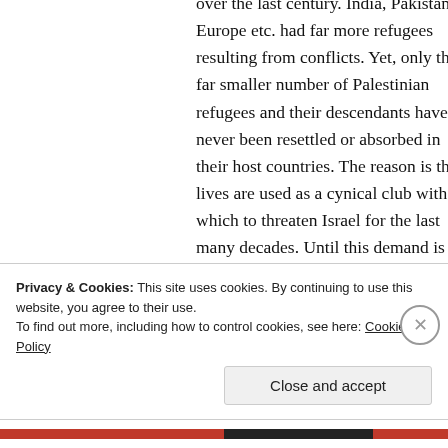over the last century. India, Pakistan, Europe etc. had far more refugees resulting from conflicts. Yet, only the far smaller number of Palestinian refugees and their descendants have never been resettled or absorbed in their host countries. The reason is their lives are used as a cynical club with which to threaten Israel for the last many decades. Until this demand is removed from the BDS movement those who deny their goal is the
Privacy & Cookies: This site uses cookies. By continuing to use this website, you agree to their use.
To find out more, including how to control cookies, see here: Cookie Policy
Close and accept